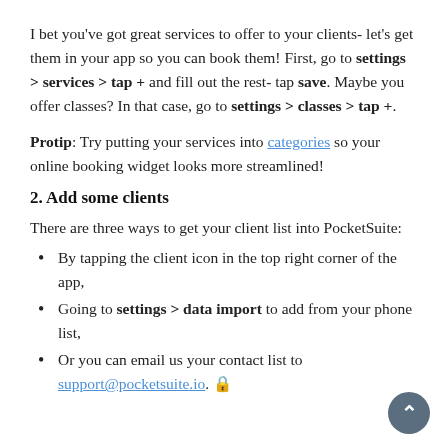I bet you've got great services to offer to your clients- let's get them in your app so you can book them! First, go to settings > services > tap + and fill out the rest- tap save. Maybe you offer classes? In that case, go to settings > classes > tap +.
Protip: Try putting your services into categories so your online booking widget looks more streamlined!
2. Add some clients
There are three ways to get your client list into PocketSuite:
By tapping the client icon in the top right corner of the app,
Going to settings > data import to add from your phone list,
Or you can email us your contact list to support@pocketsuite.io.